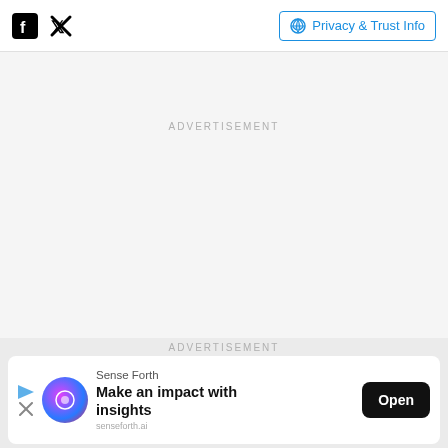Facebook icon | Twitter icon | Privacy & Trust Info
ADVERTISEMENT
ADVERTISEMENT
[Figure (infographic): Advertisement banner for Sense Forth: 'Make an impact with insights' with Open button]
Sense Forth Make an impact with insights Open